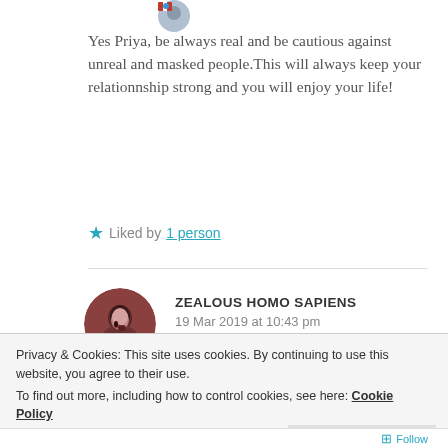[Figure (illustration): Small circular avatar of a person with a flag/icon at top of page]
Yes Priya, be always real and be cautious against unreal and masked people.This will always keep your relationnship strong and you will enjoy your life!
★ Liked by 1 person
[Figure (illustration): Circular avatar of a person with dark reddish-brown background]
ZEALOUS HOMO SAPIENS
19 Mar 2019 at 10:43 pm
Privacy & Cookies: This site uses cookies. By continuing to use this website, you agree to their use.
To find out more, including how to control cookies, see here: Cookie Policy
Close and accept